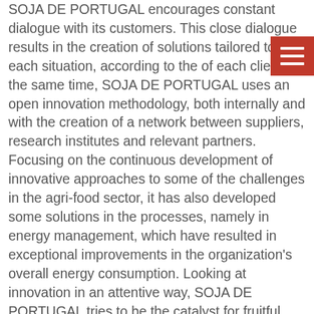SOJA DE PORTUGAL encourages constant dialogue with its customers. This close dialogue results in the creation of solutions tailored to each situation, according to the of each client. At the same time, SOJA DE PORTUGAL uses an open innovation methodology, both internally and with the creation of a network between suppliers, research institutes and relevant partners. Focusing on the continuous development of innovative approaches to some of the challenges in the agri-food sector, it has also developed some solutions in the processes, namely in energy management, which have resulted in exceptional improvements in the organization's overall energy consumption. Looking at innovation in an attentive way, SOJA DE PORTUGAL tries to be the catalyst for fruitful relationships, creating an innovative environment where each partner can propose new concepts and actively participate in their development.